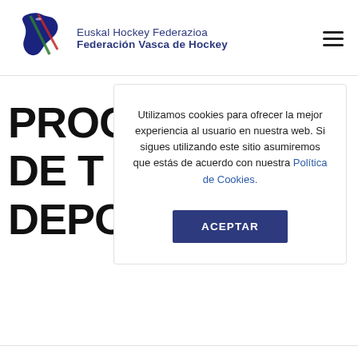Euskal Hockey Federazioa Federación Vasca de Hockey
PROG DE T DEPO
Utilizamos cookies para ofrecer la mejor experiencia al usuario en nuestra web. Si sigues utilizando este sitio asumiremos que estás de acuerdo con nuestra Política de Cookies.
ACEPTAR